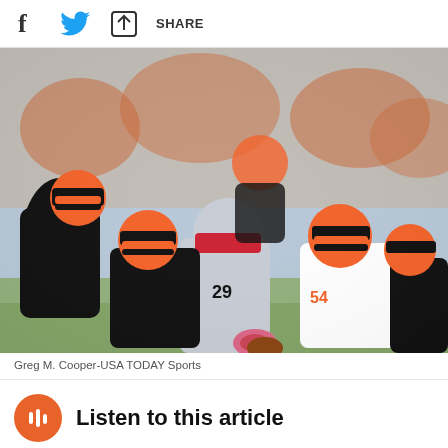f  🐦  SHARE
[Figure (photo): NFL game action photo: A New England Patriots running back wearing a gray helmet with red visor and number 29 jersey is being tackled by multiple Cincinnati Bengals defenders in orange and black striped helmets and uniforms. The player is holding the football with pink gloves. Several Bengals players surround him. Crowd visible in blurred background.]
Greg M. Cooper-USA TODAY Sports
Listen to this article